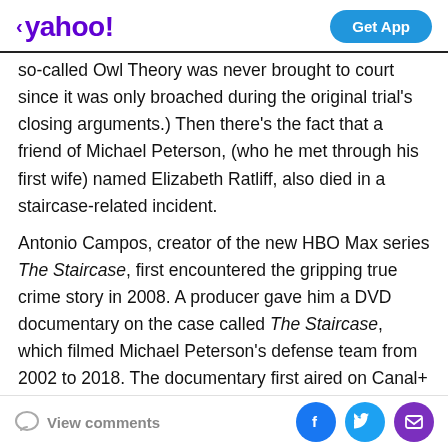< yahoo!  Get App
so-called Owl Theory was never brought to court since it was only broached during the original trial's closing arguments.) Then there's the fact that a friend of Michael Peterson, (who he met through his first wife) named Elizabeth Ratliff, also died in a staircase-related incident.
Antonio Campos, creator of the new HBO Max series The Staircase, first encountered the gripping true crime story in 2008. A producer gave him a DVD documentary on the case called The Staircase, which filmed Michael Peterson's defense team from 2002 to 2018. The documentary first aired on Canal+ in 2004. New episodes were released as the case continued over the
View comments